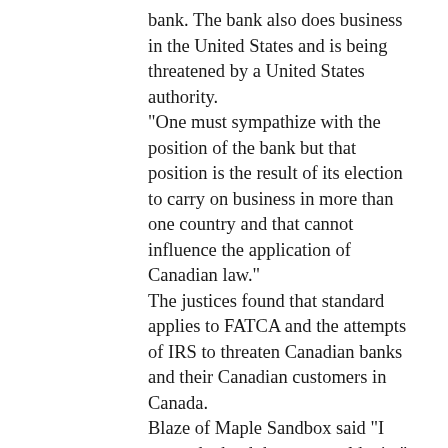bank. The bank also does business in the United States and is being threatened by a United States authority. “One must sympathize with the position of the bank but that position is the result of its election to carry on business in more than one country and that cannot influence the application of Canadian law.” The justices found that standard applies to FATCA and the attempts of IRS to threaten Canadian banks and their Canadian customers in Canada. Blaze of Maple Sandbox said “I never doubted that we would win.” Blaze’s colleague Outraged Canadian lived up to her name. “I am outraged our government has put honest, law-abiding people through this for the past several years. This has taken a huge toll on